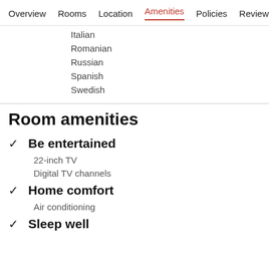Overview  Rooms  Location  Amenities  Policies  Reviews
Italian
Romanian
Russian
Spanish
Swedish
Room amenities
Be entertained
22-inch TV
Digital TV channels
Home comfort
Air conditioning
Sleep well